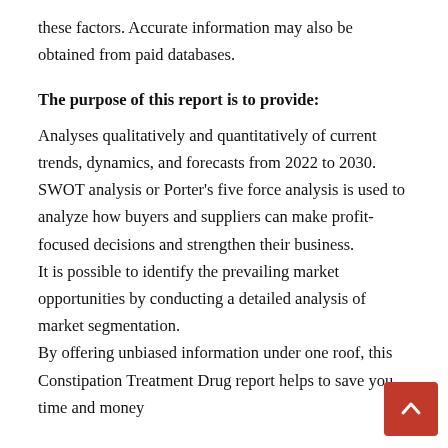these factors. Accurate information may also be obtained from paid databases.
The purpose of this report is to provide:
Analyses qualitatively and quantitatively of current trends, dynamics, and forecasts from 2022 to 2030. SWOT analysis or Porter's five force analysis is used to analyze how buyers and suppliers can make profit-focused decisions and strengthen their business. It is possible to identify the prevailing market opportunities by conducting a detailed analysis of market segmentation. By offering unbiased information under one roof, this Constipation Treatment Drug report helps to save you time and money...